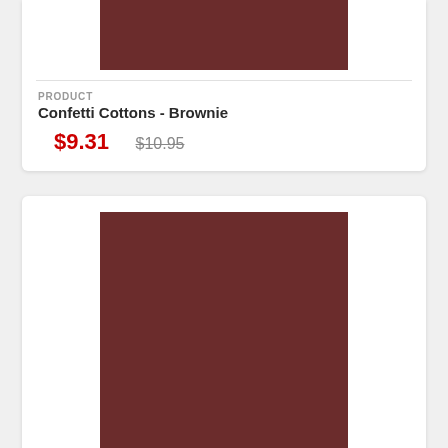[Figure (illustration): Solid dark brown/maroon color swatch rectangle (partial, cropped at top) for Confetti Cottons - Brownie product]
PRODUCT
Confetti Cottons - Brownie
$9.31 $10.95
[Figure (illustration): Solid dark brown/maroon color swatch rectangle for a second product]
PRODUCT